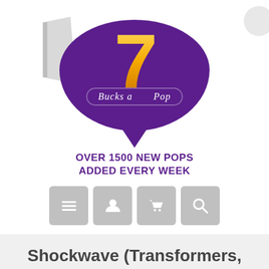[Figure (logo): 7 Bucks a Pop logo — purple speech bubble with large golden number 7 and 'Bucks a Pop' script banner, with ribbon decoration on the left]
OVER 1500 NEW POPS ADDED EVERY WEEK
[Figure (infographic): Four gray icon buttons: hamburger menu, user profile, shopping cart, magnifying glass search]
Shockwave (Transformers, Retro Toys) 83 - 2021 Summer Convention